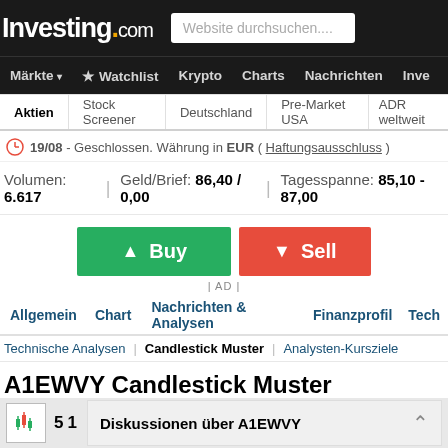Investing.com
Märkte ▾  ★ Watchlist  Krypto  Charts  Nachrichten  Inve
Aktien  Stock Screener  Deutschland  Pre-Market USA  ADR weltweit
19/08 - Geschlossen. Währung in EUR ( Haftungsausschluss )
Volumen: 6.617  |  Geld/Brief: 86,40 / 0,00  |  Tagesspanne: 85,10 - 87,00
| AD |
Allgemein  Chart  Nachrichten & Analysen  Finanzprofil  Tech
Technische Analysen  |  Candlestick Muster  |  Analysten-Kursziele
A1EWVY Candlestick Muster
Diskussionen über A1EWVY